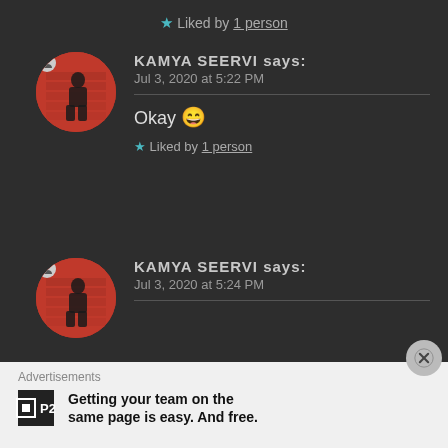★ Liked by 1 person
KAMYA SEERVI says: Jul 3, 2020 at 5:22 PM
Okay 😄
★ Liked by 1 person
KAMYA SEERVI says: Jul 3, 2020 at 5:24 PM
Advertisements
Getting your team on the same page is easy. And free.